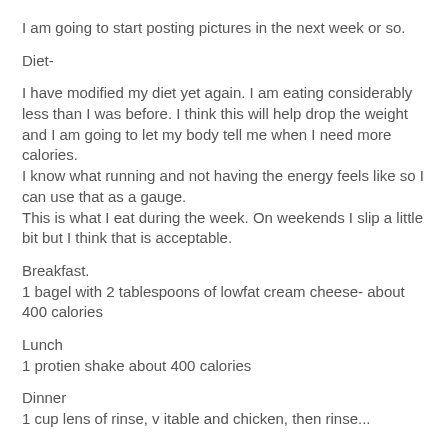I am going to start posting pictures in the next week or so.
Diet-
I have modified my diet yet again. I am eating considerably less than I was before. I think this will help drop the weight and I am going to let my body tell me when I need more calories.
I know what running and not having the energy feels like so I can use that as a gauge.
This is what I eat during the week. On weekends I slip a little bit but I think that is acceptable.
Breakfast.
1 bagel with 2 tablespoons of lowfat cream cheese- about 400 calories
Lunch
1 protien shake about 400 calories
Dinner
1 cup lens of rinse, v itable and chicken, then rinse...